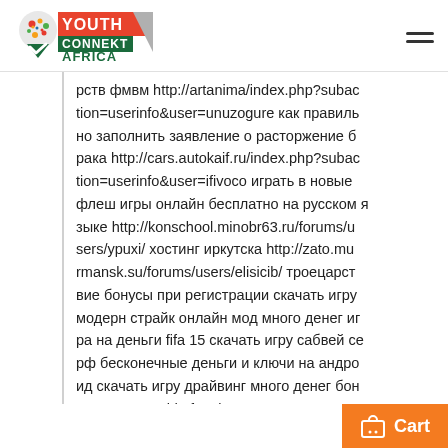Youth Connekt Africa logo and hamburger menu
рств фмвм http://artanima/index.php?subaction=userinfo&user=unuzogure как правильно заполнить заявление о расторжение брака http://cars.autokaif.ru/index.php?subaction=userinfo&user=ifivoco играть в новые флеш игры онлайн бесплатно на русском языке http://konschool.minobr63.ru/forums/users/ypuxi/ хостинг иркутска http://zato.murmansk.su/forums/users/elisicib/ троецарствие бонусы при регистрации скачать игру модерн страйк онлайн мод много денег игра на деньги fifa 15 скачать игру сабвей серф бесконечные деньги и ключи на андроид скачать игру драйвинг много денег бонус коды в world of tanks 2014 как вывести деньги с игры биг тиме как прокачать ги для игры игры с выводом денег дл